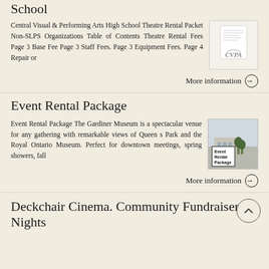School
Central Visual & Performing Arts High School Theatre Rental Packet Non-SLPS Organizations Table of Contents Theatre Rental Fees Page 3 Base Fee Page 3 Staff Fees. Page 3 Equipment Fees. Page 4 Repair or
More information →
Event Rental Package
Event Rental Package The Gardiner Museum is a spectacular venue for any gathering with remarkable views of Queen s Park and the Royal Ontario Museum. Perfect for downtown meetings, spring showers, fall
More information →
Deckchair Cinema. Community Fundraiser Nights